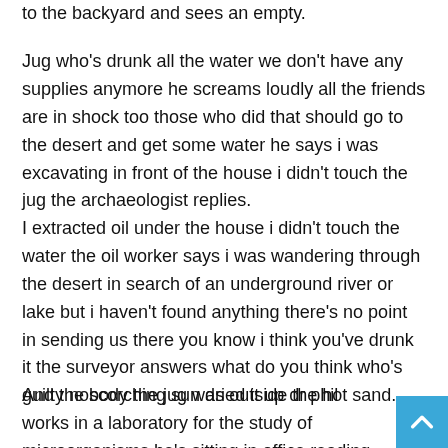to the backyard and sees an empty.
Jug who's drunk all the water we don't have any supplies anymore he screams loudly all the friends are in shock too those who did that should go to the desert and get some water he says i was excavating in front of the house i didn't touch the jug the archaeologist replies.
I extracted oil under the house i didn't touch the water the oil worker says i was wandering through the desert in search of an underground river or lake but i haven't found anything there's no point in sending us there you know i think you've drunk it the surveyor answers what do you think who's guilty nobody the jug was outside the hot sand.
And the scorching sun dried it up dr phil works in a laboratory for the study of microorganisms he's sitting in office reading a new scientific article at this moment